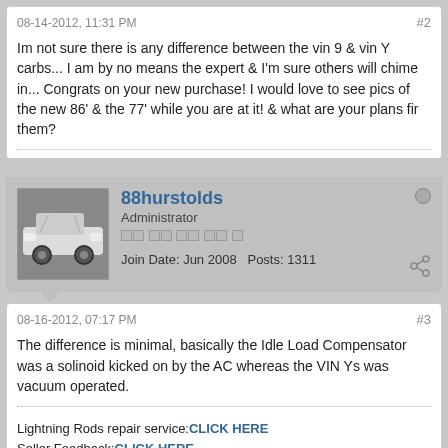08-14-2012, 11:31 PM
#2
Im not sure there is any difference between the vin 9 & vin Y carbs... I am by no means the expert & I'm sure others will chime in... Congrats on your new purchase! I would love to see pics of the new 86' & the 77' while you are at it! & what are your plans fir them?
88hurstolds
Administrator
Join Date: Jun 2008   Posts: 1311
08-16-2012, 07:17 PM
#3
The difference is minimal, basically the Idle Load Compensator was a solinoid kicked on by the AC whereas the VIN Ys was vacuum operated.
Lightning Rods repair service:CLICK HERE
Seller Feedback:CLICK HERE
1988 H/OCA Advisor
88 H/O #1 of 4
88 CSC White/Claret - T tops